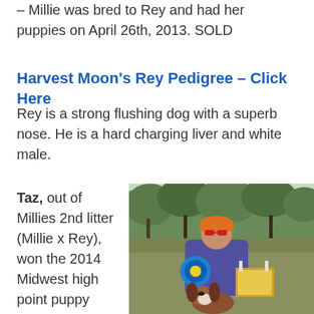– Millie was bred to Rey and had her puppies on April 26th, 2013. SOLD
Harvest Moon's Rey Pedigree – Click Here
Rey is a strong flushing dog with a superb nose. He is a hard charging liver and white male.
Taz, out of Millies 2nd litter (Millie x Rey), won the 2014 Midwest high point puppy
[Figure (photo): Man in purple hoodie and orange cap holding a blue ribbon rosette and a trophy, with a Springer Spaniel dog in front, standing outdoors with trees in the background]